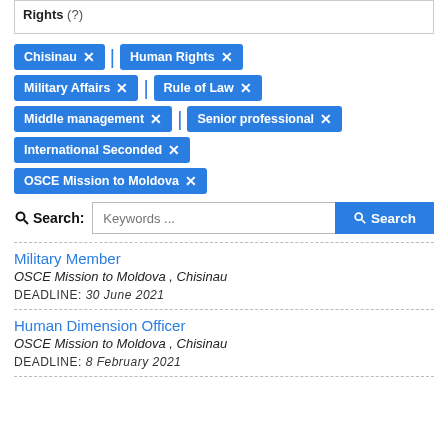Rights (?)
Chisinau ×
Human Rights ×
Military Affairs ×
Rule of Law ×
Middle management ×
Senior professional ×
International Seconded ×
OSCE Mission to Moldova ×
Search: Keywords ...
Military Member
OSCE Mission to Moldova , Chisinau
DEADLINE: 30 June 2021
Human Dimension Officer
OSCE Mission to Moldova , Chisinau
DEADLINE: 8 February 2021